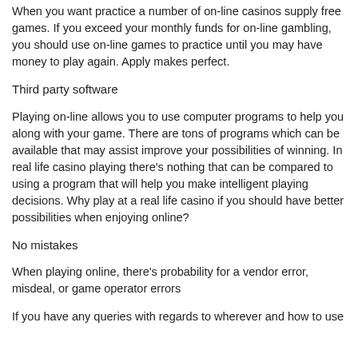When you want practice a number of on-line casinos supply free games. If you exceed your monthly funds for on-line gambling, you should use on-line games to practice until you may have money to play again. Apply makes perfect.
Third party software
Playing on-line allows you to use computer programs to help you along with your game. There are tons of programs which can be available that may assist improve your possibilities of winning. In real life casino playing there's nothing that can be compared to using a program that will help you make intelligent playing decisions. Why play at a real life casino if you should have better possibilities when enjoying online?
No mistakes
When playing online, there's probability for a vendor error, misdeal, or game operator errors
If you have any queries with regards to wherever and how to use